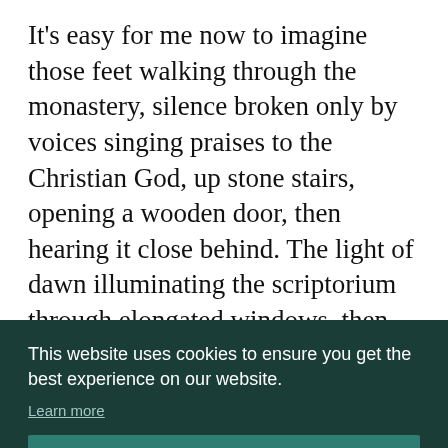It's easy for me now to imagine those feet walking through the monastery, silence broken only by voices singing praises to the Christian God, up stone stairs, opening a wooden door, then hearing it close behind. The light of dawn illuminating the scriptorium through elongated windows, then the sound of a chair scraping on a wooden floor. A breath as quill is dipped in
This website uses cookies to ensure you get the best experience on our website.
Learn more
Got it!
of Taliesin, the same with the Bard Myrddin.